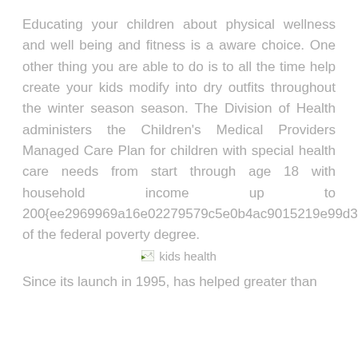Educating your children about physical wellness and well being and fitness is a aware choice. One other thing you are able to do is to all the time help create your kids modify into dry outfits throughout the winter season season. The Division of Health administers the Children's Medical Providers Managed Care Plan for children with special health care needs from start through age 18 with household income up to 200{ee2969969a16e02279579c5e0b4ac9015219e99d363c310bf75d46c189d8acdf} of the federal poverty degree.
[Figure (other): Broken image placeholder labeled 'kids health']
Since its launch in 1995, has helped greater than